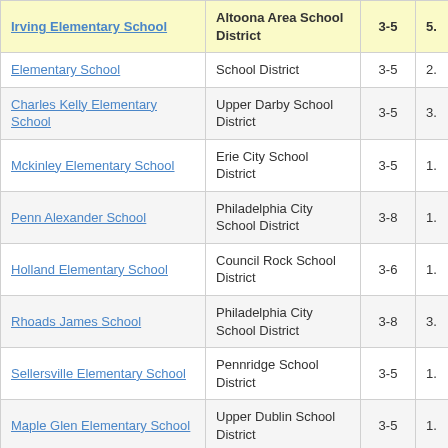| School Name | School District | Grades | Score |
| --- | --- | --- | --- |
| Irving Elementary School | Altoona Area School District | 3-5 | 5. |
| Elementary School | School District | 3-5 | 2. |
| Charles Kelly Elementary School | Upper Darby School District | 3-5 | 3. |
| Mckinley Elementary School | Erie City School District | 3-5 | 1. |
| Penn Alexander School | Philadelphia City School District | 3-8 | 1. |
| Holland Elementary School | Council Rock School District | 3-6 | 1. |
| Rhoads James School | Philadelphia City School District | 3-8 | 3. |
| Sellersville Elementary School | Pennridge School District | 3-5 | 1. |
| Maple Glen Elementary School | Upper Dublin School District | 3-5 | 1. |